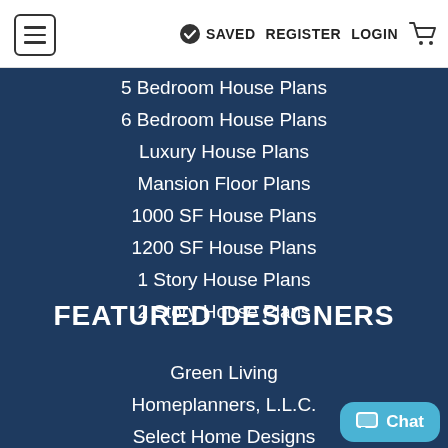≡  ✓ SAVED  REGISTER  LOGIN  🛒
5 Bedroom House Plans
6 Bedroom House Plans
Luxury House Plans
Mansion Floor Plans
1000 SF House Plans
1200 SF House Plans
1 Story House Plans
2 Story House Plans
FEATURED DESIGNERS
Green Living
Homeplanners, L.L.C.
Select Home Designs
Simply Classic